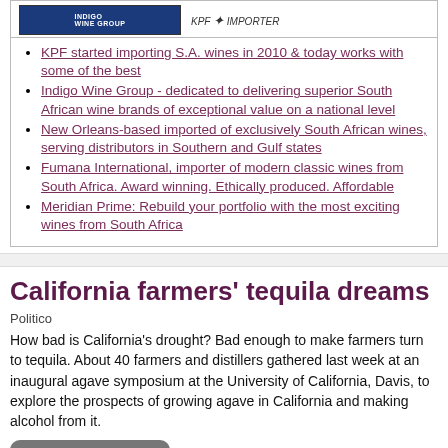[Figure (logo): KPF / Indigo Wine Group logo banner]
KPF started importing S.A. wines in 2010 & today works with some of the best
Indigo Wine Group - dedicated to delivering superior South African wine brands of exceptional value on a national level
New Orleans-based imported of exclusively South African wines, serving distributors in Southern and Gulf states
Fumana International, importer of modern classic wines from South Africa. Award winning. Ethically produced. Affordable
Meridian Prime: Rebuild your portfolio with the most exciting wines from South Africa
California farmers' tequila dreams
Politico
How bad is California's drought? Bad enough to make farmers turn to tequila. About 40 farmers and distillers gathered last week at an inaugural agave symposium at the University of California, Davis, to explore the prospects of growing agave in California and making alcohol from it.
READ MORE